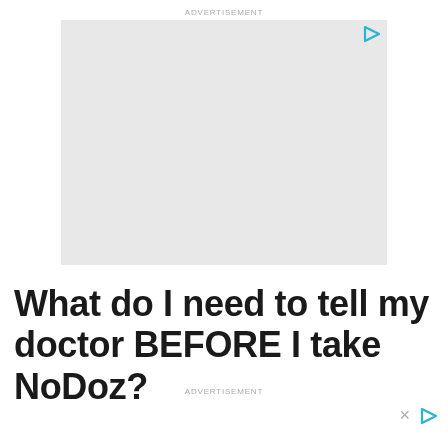ADVERTISEMENT
[Figure (other): Grey advertisement placeholder box with a cyan/teal play icon in the top right corner]
What do I need to tell my doctor BEFORE I take NoDoz?
ADVERTISEMENT